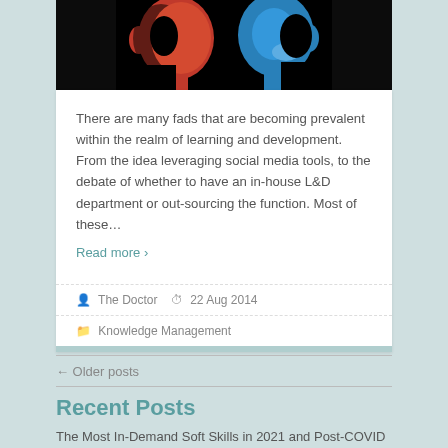[Figure (illustration): Two facing silhouette heads, one orange/red and one blue, on black background — representing communication or learning and development concepts]
There are many fads that are becoming prevalent within the realm of learning and development. From the idea leveraging social media tools, to the debate of whether to have an in-house L&D department or out-sourcing the function. Most of these…
Read more ›
The Doctor  22 Aug 2014
Knowledge Management
← Older posts
Recent Posts
The Most In-Demand Soft Skills in 2021 and Post-COVID – TRACOM Group